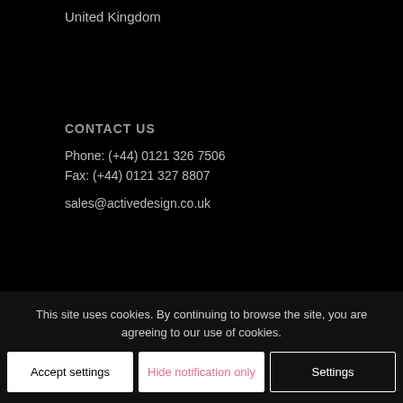United Kingdom
CONTACT US
Phone: (+44) 0121 326 7506
Fax: (+44) 0121 327 8807
sales@activedesign.co.uk
THE LEGAL STUFF
Terms & Conditions of Sales
This site uses cookies. By continuing to browse the site, you are agreeing to our use of cookies.
Accept settings
Hide notification only
Settings